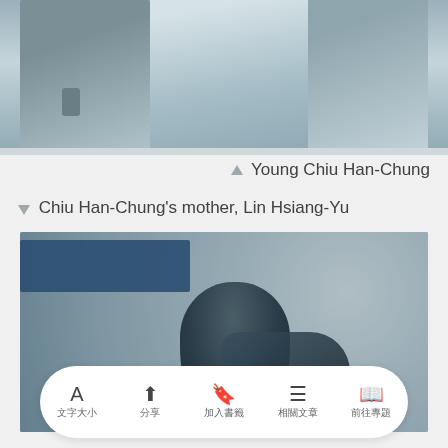[Figure (photo): Black and white photograph showing two people's lower bodies, one holding a cane, against a light background]
▲ Young Chiu Han-Chung
▼ Chiu Han-Chung's mother, Lin Hsiang-Yu
[Figure (photo): Black and white photograph of a woman (Lin Hsiang-Yu) standing outdoors with flowering foliage in the background; a blue redaction rectangle covers part of the upper left]
A 文字大小  分享  加入書籤  相關文章  前往專題